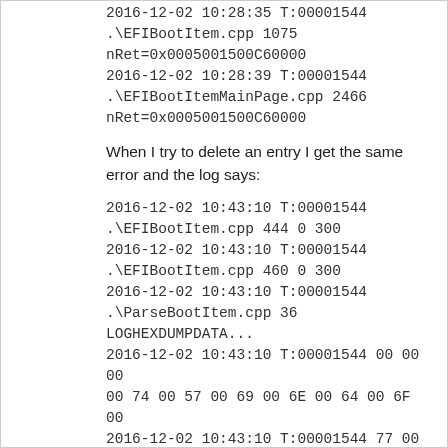2016-12-02 10:28:35 T:00001544
.\EFIBootItem.cpp 1075
nRet=0x0005001500C60000
2016-12-02 10:28:39 T:00001544
.\EFIBootItemMainPage.cpp 2466
nRet=0x0005001500C60000
When I try to delete an entry I get the same error and the log says:
2016-12-02 10:43:10 T:00001544
.\EFIBootItem.cpp 444 0 300
2016-12-02 10:43:10 T:00001544
.\EFIBootItem.cpp 460 0 300
2016-12-02 10:43:10 T:00001544
.\ParseBootItem.cpp 36 LOGHEXDUMPDATA...
2016-12-02 10:43:10 T:00001544 00 00 00 00 74 00 57 00 69 00 6E 00 64 00 6F 00
2016-12-02 10:43:10 T:00001544 77 00 73 ...